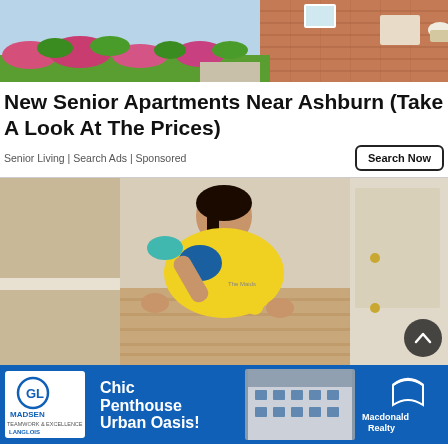[Figure (photo): Exterior photo of a senior apartment building with colorful flower gardens and brick facade]
New Senior Apartments Near Ashburn (Take A Look At The Prices)
Senior Living | Search Ads | Sponsored
[Figure (photo): Woman in yellow uniform cleaning/scrubbing a hardwood floor in a hallway]
[Figure (photo): Advertisement banner: Chic Penthouse Urban Oasis! – Madsen Langlois and Macdonald Realty logos with apartment building image]